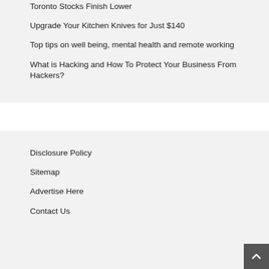Toronto Stocks Finish Lower
Upgrade Your Kitchen Knives for Just $140
Top tips on well being, mental health and remote working
What is Hacking and How To Protect Your Business From Hackers?
Disclosure Policy
Sitemap
Advertise Here
Contact Us